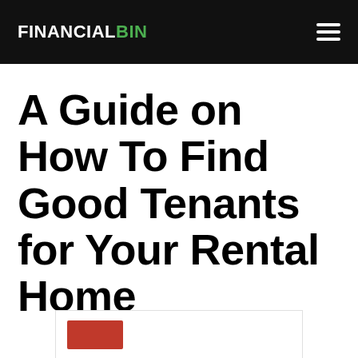FINANCIALBIN
A Guide on How To Find Good Tenants for Your Rental Home
[Figure (screenshot): Partial preview of an image with a red rectangle element at the bottom of the page]